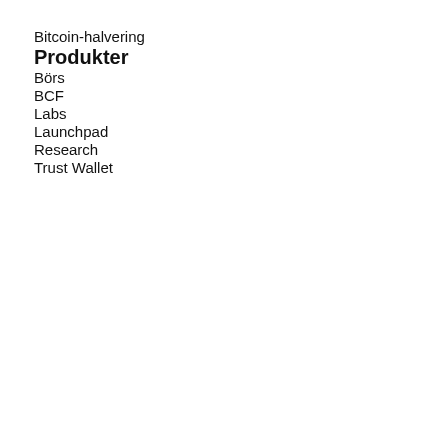Bitcoin-halvering
Produkter
Börs
BCF
Labs
Launchpad
Research
Trust Wallet